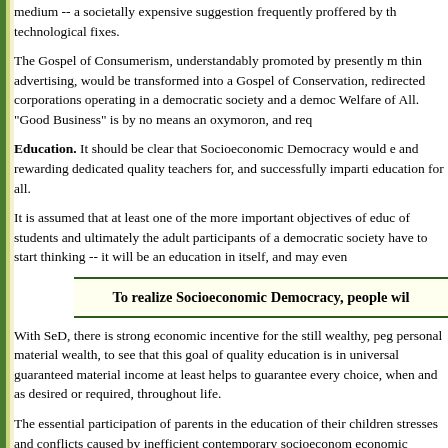medium -- a societally expensive suggestion frequently proffered by those who favor technological fixes.
The Gospel of Consumerism, understandably promoted by presently m... thin advertising, would be transformed into a Gospel of Conservation, redirected corporations operating in a democratic society and a democ... Welfare of All. "Good Business" is by no means an oxymoron, and req...
Education. It should be clear that Socioeconomic Democracy would e... and rewarding dedicated quality teachers for, and successfully imparti... education for all.
It is assumed that at least one of the more important objectives of educ... of students and ultimately the adult participants of a democratic society... have to start thinking -- it will be an education in itself, and may even
To realize Socioeconomic Democracy, people wil
With SeD, there is strong economic incentive for the still wealthy, peg... personal material wealth, to see that this goal of quality education is in... universal guaranteed material income at least helps to guarantee every... choice, when and as desired or required, throughout life.
The essential participation of parents in the education of their children stresses and conflicts caused by inefficient contemporary socioeconom... economic incentives) could far more easily be provided with SeD in pl...